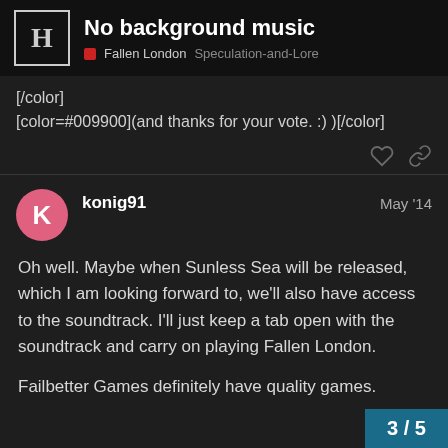No background music — Fallen London Speculation-and-Lore
[/color]
[color=#009900](and thanks for your vote. :) )[/color]
konig91   May '14
Oh well. Maybe when Sunless Sea will be released, which I am looking forward to, we'll also have access to the soundtrack. I'll just keep a tab open with the soundtrack and carry on playing Fallen London.

Failbetter Games definitely have quality games.
3 / 5